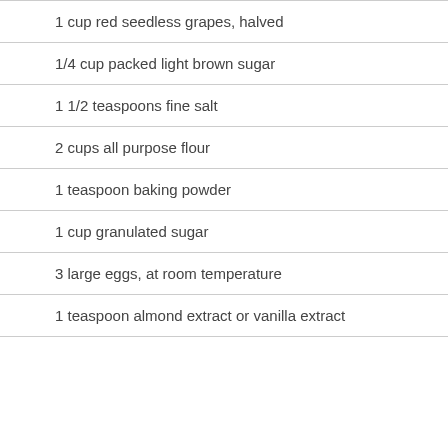1 cup red seedless grapes, halved
1/4 cup packed light brown sugar
1 1/2 teaspoons fine salt
2 cups all purpose flour
1 teaspoon baking powder
1 cup granulated sugar
3 large eggs, at room temperature
1 teaspoon almond extract or vanilla extract